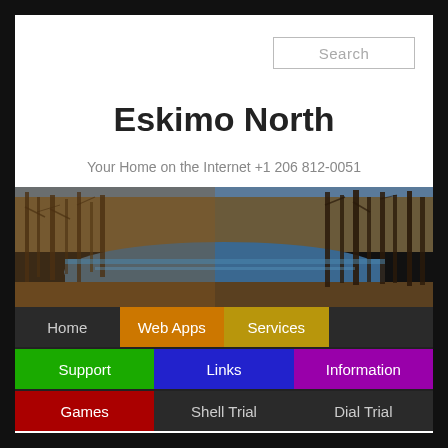Search
Eskimo North
Your Home on the Internet +1 206 812-0051
[Figure (photo): Landscape photo of a river or lake with bare autumn trees and blue water reflecting the sky]
Home
Web Apps
Services
Support
Links
Information
Games
Shell Trial
Dial Trial